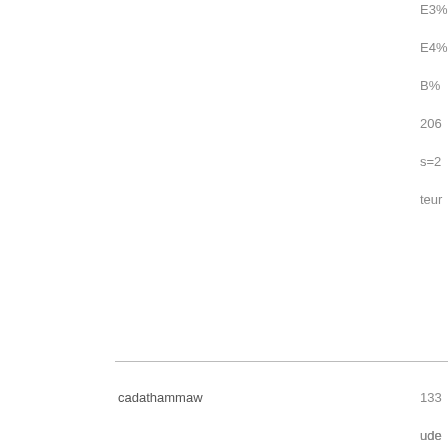E3%
E4%
B%
206
s=2
teur
cadathammaw
133
ude
691
2f12
102
om%
596
wg8
a%2
116
slut-
187
=htt